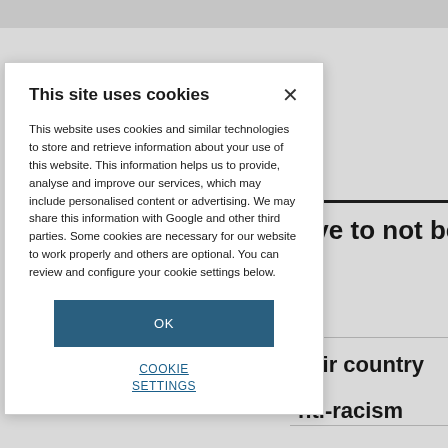This site uses cookies
This website uses cookies and similar technologies to store and retrieve information about your use of this website. This information helps us to provide, analyse and improve our services, which may include personalised content or advertising. We may share this information with Google and other third parties. Some cookies are necessary for our website to work properly and others are optional. You can review and configure your cookie settings below.
OK
COOKIE SETTINGS